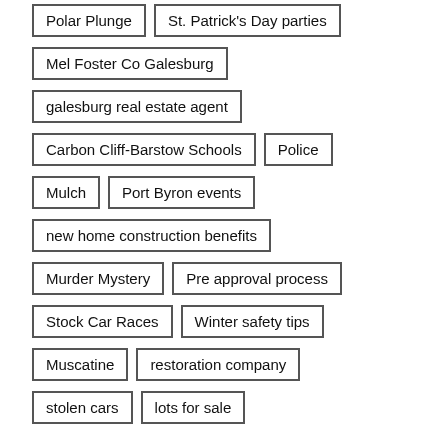Polar Plunge
St. Patrick's Day parties
Mel Foster Co Galesburg
galesburg real estate agent
Carbon Cliff-Barstow Schools
Police
Mulch
Port Byron events
new home construction benefits
Murder Mystery
Pre approval process
Stock Car Races
Winter safety tips
Muscatine
restoration company
stolen cars
lots for sale